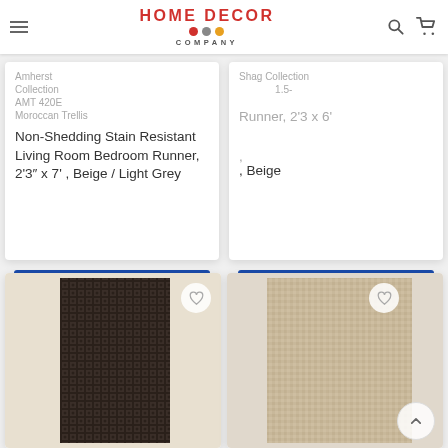HOME DECOR COMPANY
Amherst Collection AMT 420E Moroccan Trellis Non-Shedding Stain Resistant Living Room Bedroom Runner, 2'3" x 7', Beige / Light Grey
See All Buying Options
Shag Collection 1.5- Runner, 2'3 x 6', Beige
See All Buying Options
[Figure (photo): Dark brown/black woven trellis pattern rug texture]
[Figure (photo): Light beige/cream shag rug texture]